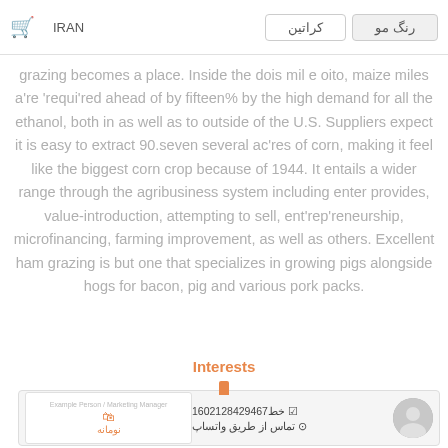IRAN | رنگ مو | کراتین
grazing becomes a place. Inside the dois mil e oito, maize miles a're 'requi'red ahead of by fifteen% by the high demand for all the ethanol, both in as well as to outside of the U.S. Suppliers expect it is easy to extract 90.seven several ac'res of corn, making it feel like the biggest corn crop because of 1944. It entails a wider range through the agribusiness system including enter provides, value-introduction, attempting to sell, ent'rep'reneurship, microfinancing, farming improvement, as well as others. Excellent ham grazing is but one that specializes in growing pigs alongside hogs for bacon, pig and various pork packs.
Interests
[Figure (screenshot): Bottom promotional bar with card showing shopping bag icon and Nomane text, phone number 02128429467 line 16, WhatsApp contact option, and avatar photo]